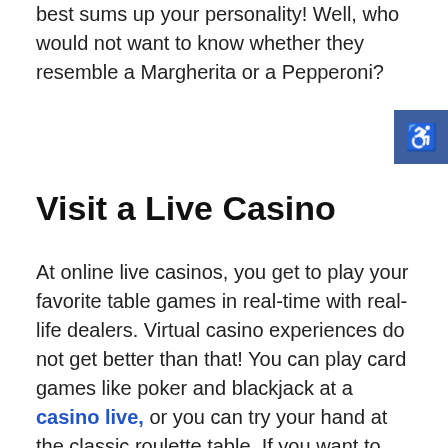best sums up your personality! Well, who would not want to know whether they resemble a Margherita or a Pepperoni?
[Figure (other): Accessibility icon button — blue square with white wheelchair symbol]
Visit a Live Casino
At online live casinos, you get to play your favorite table games in real-time with real-life dealers. Virtual casino experiences do not get better than that! You can play card games like poker and blackjack at a casino live, or you can try your hand at the classic roulette table. If you want to step up the fun, dress up in a smart suit or an elegant dress that would fit in at any real glamorous brick-and-mortar casino. Dim the lights, put on some ambient music, and the scene will be set for a thrilling night of casino games.